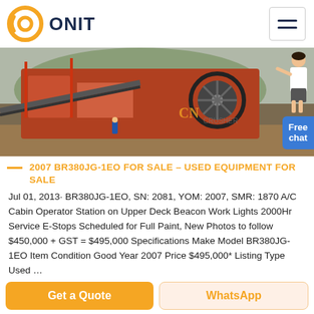ONIT
[Figure (photo): Mining/crushing machinery at a site, showing large industrial equipment including conveyor belts and a wheel-type machine near water. CN Crusher watermark visible.]
2007 BR380JG-1EO FOR SALE – USED EQUIPMENT FOR SALE
Jul 01, 2013· BR380JG-1EO, SN: 2081, YOM: 2007, SMR: 1870 A/C Cabin Operator Station on Upper Deck Beacon Work Lights 2000Hr Service E-Stops Scheduled for Full Paint, New Photos to follow $450,000 + GST = $495,000 Specifications Make Model BR380JG-1EO Item Condition Good Year 2007 Price $495,000* Listing Type Used …
Get a Quote   WhatsApp